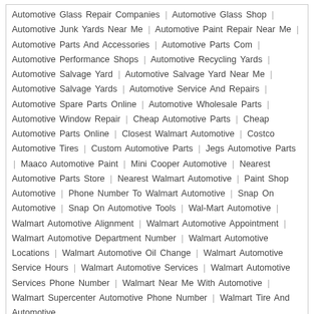Automotive Glass Repair Companies | Automotive Glass Shop | Automotive Junk Yards Near Me | Automotive Paint Repair Near Me | Automotive Parts And Accessories | Automotive Parts Com | Automotive Performance Shops | Automotive Recycling Yards | Automotive Salvage Yard | Automotive Salvage Yard Near Me | Automotive Salvage Yards | Automotive Service And Repairs | Automotive Spare Parts Online | Automotive Wholesale Parts | Automotive Window Repair | Cheap Automotive Parts | Cheap Automotive Parts Online | Closest Walmart Automotive | Costco Automotive Tires | Custom Automotive Parts | Jegs Automotive Parts | Maaco Automotive Paint | Mini Cooper Automotive | Nearest Automotive Parts Store | Nearest Walmart Automotive | Paint Shop Automotive | Phone Number To Walmart Automotive | Snap On Automotive | Snap On Automotive Tools | Wal-Mart Automotive | Walmart Automotive Alignment | Walmart Automotive Appointment | Walmart Automotive Department Number | Walmart Automotive Locations | Walmart Automotive Oil Change | Walmart Automotive Service Hours | Walmart Automotive Services | Walmart Automotive Services Phone Number | Walmart Near Me With Automotive | Walmart Supercenter Automotive Phone Number | Walmart Tire And Automotive
Previous
Next
GMC 3.6-liter Engine Problems Overview
Ford Pro Electric SuperVan Debuts At Goodwood
MORE STORIES